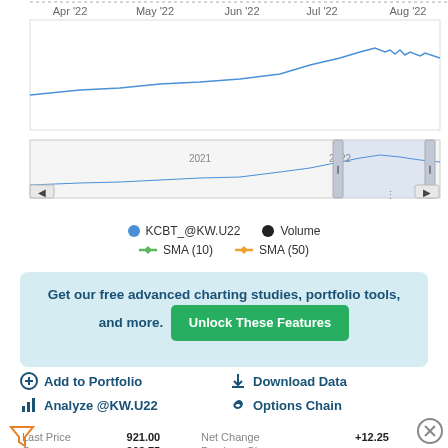[Figure (continuous-plot): Stock chart for KCBT_@KW.U22 showing price line from 2021 to 2022 with x-axis labels Apr '22, May '22, Jun '22, Jul '22, Aug '22 and a range selector navigator below. A shaded region highlights the Aug '22 selected range.]
KCBT_@KW.U22  Volume  SMA (10)  SMA (50)
Get our free advanced charting studies, portfolio tools, and more. Unlock These Features
Add to Portfolio
Download Data
Analyze @KW.U22
Options Chain
|  |  |  |  |
| --- | --- | --- | --- |
| Last Price | 921.00 | Net Change | +12.25 |
| Open | 908.75 | Previous Close |  |
| High | 921.25 | Low |  |
| Bid | 920.00 | Ask | 920.0 |